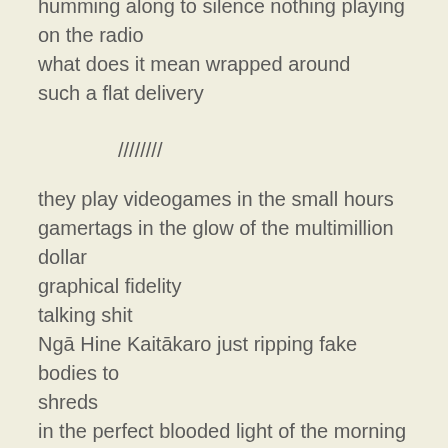humming along to silence nothing playing on the radio
what does it mean wrapped around such a flat delivery

////////

they play videogames in the small hours
gamertags in the glow of the multimillion dollar graphical fidelity
talking shit
Ngā Hine Kaitākaro just ripping fake bodies to shreds
in the perfect blooded light of the morning
coloniser after coloniser just getting bullet after bullet        highscoring in the glaze of the inside